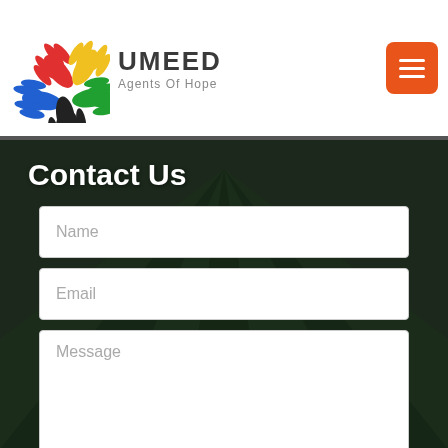[Figure (logo): UMEED Agents Of Hope logo with colorful hand icons (red, yellow, blue, green, black hands arranged in a star pattern) and brand name text]
Contact Us
[Figure (screenshot): Contact Us web page form with Name, Email, Message fields and a Send button on a dark green grass background]